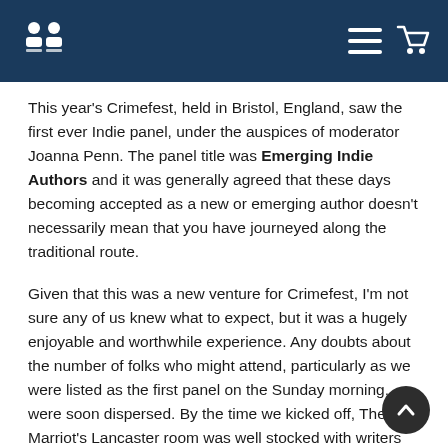Navigation header with logo and menu/cart icons
This year's Crimefest, held in Bristol, England, saw the first ever Indie panel, under the auspices of moderator Joanna Penn. The panel title was Emerging Indie Authors and it was generally agreed that these days becoming accepted as a new or emerging author doesn't necessarily mean that you have journeyed along the traditional route.
Given that this was a new venture for Crimefest, I'm not sure any of us knew what to expect, but it was a hugely enjoyable and worthwhile experience. Any doubts about the number of folks who might attend, particularly as we were listed as the first panel on the Sunday morning, were soon dispersed. By the time we kicked off, The Marriot's Lancaster room was well stocked with writers (self-published, contracted and hybrid) and readers of the genre, .